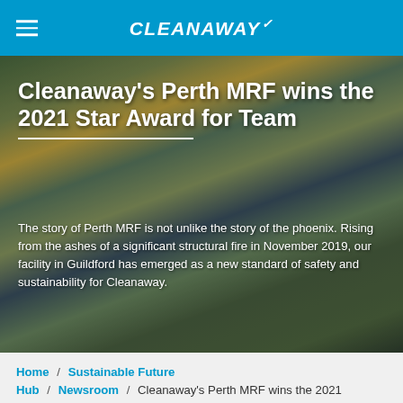CLEANAWAY
[Figure (photo): Group photo of Cleanaway Perth MRF team members wearing high-visibility yellow and orange safety vests, standing and sitting in rows indoors.]
Cleanaway's Perth MRF wins the 2021 Star Award for Team
The story of Perth MRF is not unlike the story of the phoenix. Rising from the ashes of a significant structural fire in November 2019, our facility in Guildford has emerged as a new standard of safety and sustainability for Cleanaway.
Home / Sustainable Future Hub / Newsroom / Cleanaway's Perth MRF wins the 2021 Star Award for Team